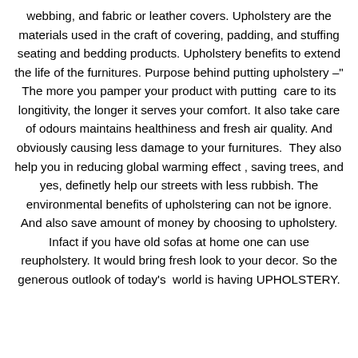webbing, and fabric or leather covers. Upholstery are the materials used in the craft of covering, padding, and stuffing seating and bedding products. Upholstery benefits to extend the life of the furnitures. Purpose behind putting upholstery –" The more you pamper your product with putting  care to its longitivity, the longer it serves your comfort. It also take care of odours maintains healthiness and fresh air quality. And obviously causing less damage to your furnitures.  They also help you in reducing global warming effect , saving trees, and yes, definetly help our streets with less rubbish. The environmental benefits of upholstering can not be ignore. And also save amount of money by choosing to upholstery. Infact if you have old sofas at home one can use reupholstery. It would bring fresh look to your decor. So the generous outlook of today's  world is having UPHOLSTERY.